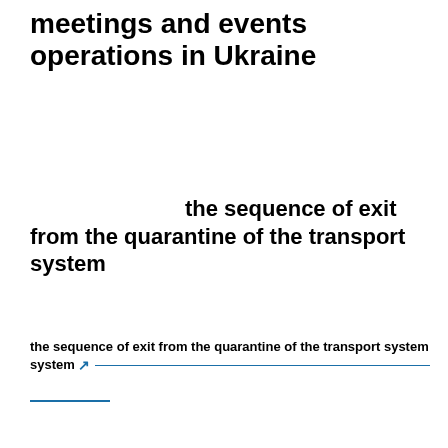meetings and events operations in Ukraine
the sequence of exit from the quarantine of the transport system
the sequence of exit from the quarantine of the transport system ↗